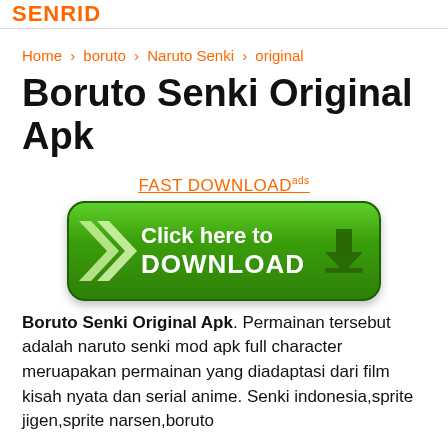SENRID
Home > boruto > Naruto Senki > original
Boruto Senki Original Apk
FAST DOWNLOADads
[Figure (other): Green rounded download button with chevron arrows and text 'Click here to DOWNLOAD' with a download icon]
Boruto Senki Original Apk. Permainan tersebut adalah naruto senki mod apk full character meruapakan permainan yang diadaptasi dari film kisah nyata dan serial anime. Senki indonesia,sprite jigen,sprite narsen,boruto